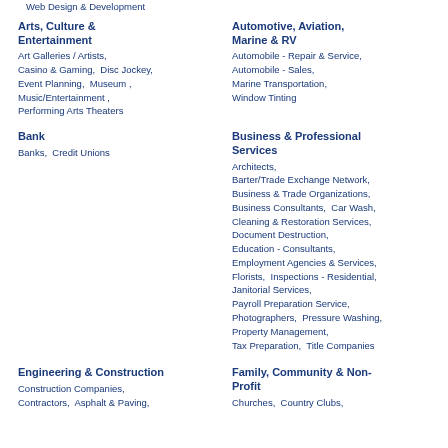Web Design & Development
Arts, Culture & Entertainment
Art Galleries / Artists,  Casino & Gaming,  Disc Jockey,  Event Planning,  Museum ,  Music/Entertainment ,  Performing Arts Theaters
Automotive, Aviation, Marine & RV
Automobile - Repair & Service,  Automobile - Sales,  Marine Transportation,  Window Tinting
Bank
Banks,  Credit Unions
Business & Professional Services
Architects,  Barter/Trade Exchange Network,  Business & Trade Organizations,  Business Consultants,  Car Wash,  Cleaning & Restoration Services,  Document Destruction,  Education - Consultants,  Employment Agencies & Services,  Florists,  Inspections - Residential,  Janitorial Services,  Payroll Preparation Service,  Photographers,  Pressure Washing,  Property Management,  Tax Preparation,  Title Companies
Engineering & Construction
Construction Companies,  Contractors,  Asphalt & Paving,
Family, Community & Non-Profit
Churches,  Country Clubs,